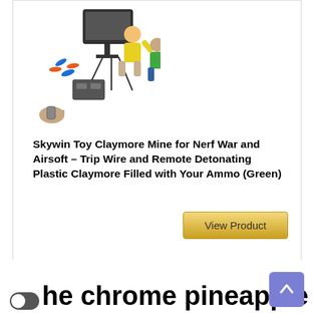[Figure (photo): Product photo showing a toy claymore mine device with people jumping away from it, with blue/orange foam darts flying outward, on a white background]
Skywin Toy Claymore Mine for Nerf War and Airsoft – Trip Wire and Remote Detonating Plastic Claymore Filled with Your Ammo (Green)
View Product
The chrome pineapple